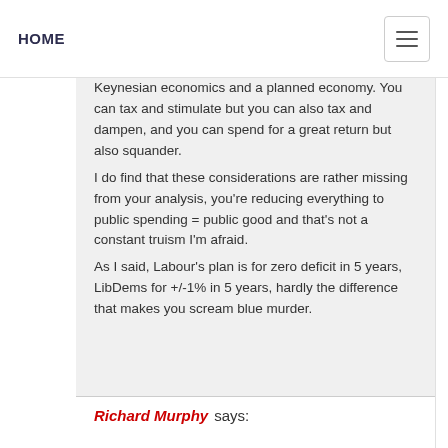HOME
Keynesian economics and a planned economy. You can tax and stimulate but you can also tax and dampen, and you can spend for a great return but also squander. I do find that these considerations are rather missing from your analysis, you’re reducing everything to public spending = public good and that’s not a constant truism I’m afraid. As I said, Labour’s plan is for zero deficit in 5 years, LibDems for +/-1% in 5 years, hardly the difference that makes you scream blue murder.
Richard Murphy says: